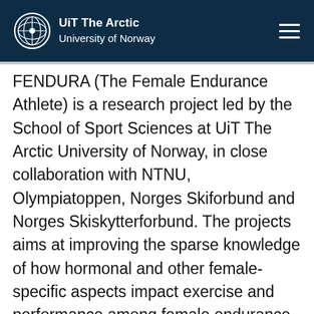UiT The Arctic University of Norway
FENDURA (The Female Endurance Athlete) is a research project led by the School of Sport Sciences at UiT The Arctic University of Norway, in close collaboration with NTNU, Olympiatoppen, Norges Skiforbund and Norges Skiskytterforbund. The projects aims at improving the sparse knowledge of how hormonal and other female-specific aspects impact exercise and performance among female endurance athletes. The project will examine female endurance athletes to better